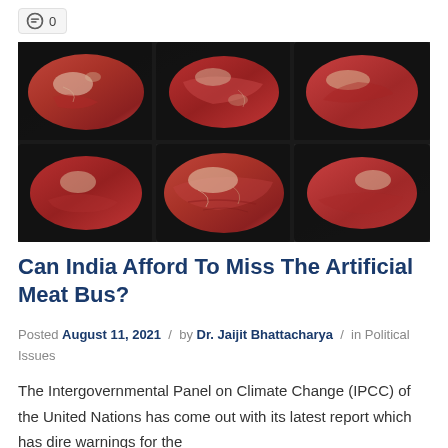0
[Figure (photo): Overhead view of multiple raw red meat steaks arranged in black packaging trays on a dark surface]
Can India Afford To Miss The Artificial Meat Bus?
Posted August 11, 2021 / by Dr. Jaijit Bhattacharya / in Political Issues
The Intergovernmental Panel on Climate Change (IPCC) of the United Nations has come out with its latest report which has dire warnings for the